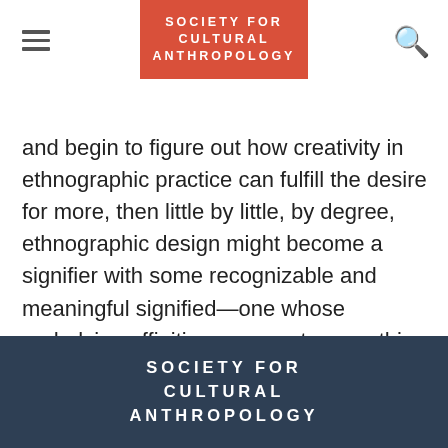SOCIETY FOR CULTURAL ANTHROPOLOGY
and begin to figure out how creativity in ethnographic practice can fulfill the desire for more, then little by little, by degree, ethnographic design might become a signifier with some recognizable and meaningful signified—one whose underlying affinities can create something greater than its individual parts.
Back to Series Description
SOCIETY FOR CULTURAL ANTHROPOLOGY